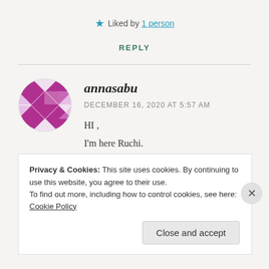★ Liked by 1 person
REPLY
[Figure (illustration): Avatar icon: circular geometric pattern with purple/magenta diamond checkerboard design]
annasabu
DECEMBER 16, 2020 AT 5:57 AM
HI ,
I'm here Ruchi.
See you.
Privacy & Cookies: This site uses cookies. By continuing to use this website, you agree to their use.
To find out more, including how to control cookies, see here: Cookie Policy
Close and accept